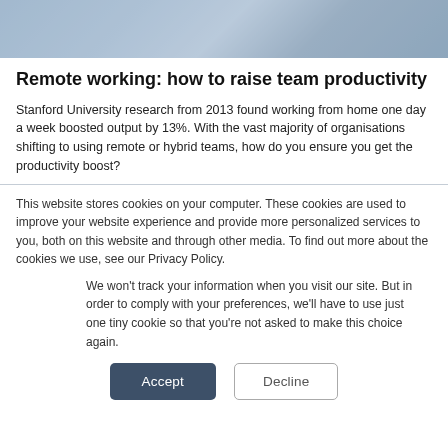[Figure (photo): Partial photo showing a person working on a laptop, cropped to show mostly hands and a blue jacket, serving as a header image for the article.]
Remote working: how to raise team productivity
Stanford University research from 2013 found working from home one day a week boosted output by 13%. With the vast majority of organisations shifting to using remote or hybrid teams, how do you ensure you get the productivity boost?
This website stores cookies on your computer. These cookies are used to improve your website experience and provide more personalized services to you, both on this website and through other media. To find out more about the cookies we use, see our Privacy Policy.
We won't track your information when you visit our site. But in order to comply with your preferences, we'll have to use just one tiny cookie so that you're not asked to make this choice again.